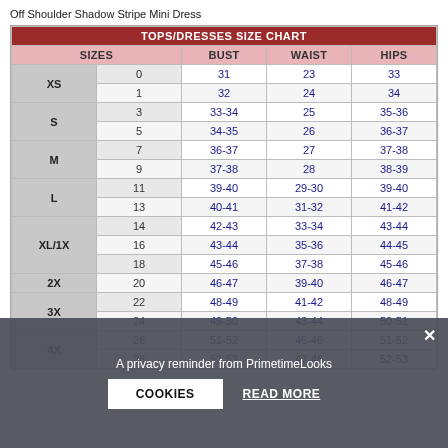Off Shoulder Shadow Stripe Mini Dress
| SIZES |  | BUST | WAIST | HIPS |
| --- | --- | --- | --- | --- |
| XS | 0 | 31 | 23 | 33 |
| XS | 1 | 32 | 24 | 34 |
| S | 3 | 33-34 | 25 | 35-36 |
| S | 5 | 34-35 | 26 | 36-37 |
| M | 7 | 36-37 | 27 | 37-38 |
| M | 9 | 37-38 | 28 | 38-39 |
| L | 11 | 39-40 | 29-30 | 39-40 |
| L | 13 | 40-41 | 31-32 | 41-42 |
| XL/1X | 14 | 42-43 | 33-34 | 43-44 |
| XL/1X | 16 | 43-44 | 35-36 | 44-45 |
| XL/1X | 18 | 45-46 | 37-38 | 45-46 |
| 2X | 20 | 46-47 | 39-40 | 46-47 |
| 3X | 22 | 48-49 | 41-42 | 48-49 |
| 3X | 24 | 49-50 | 43-44 | 50-51 |
| 4X | 26 | 51-52 | 45-46 | 51-52 |
| 4X | 28 | 52-53 | 47-48 | 52-53 |
A privacy reminder from PrimetimeLooks
COOKIES
READ MORE